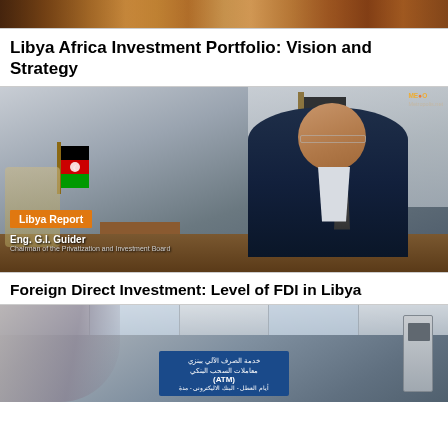[Figure (photo): Top image strip showing people in colorful traditional or crowd scene, partially cropped]
Libya Africa Investment Portfolio: Vision and Strategy
[Figure (photo): Interview photo of Eng. G.I. Guider, Chairman of the Privatization and Investment Board, seated at desk with Libyan flags, overlay showing 'Libya Report' badge]
Eng. G.I. Guider
Chairman of the Privatization and Investment Board
Foreign Direct Investment: Level of FDI in Libya
[Figure (photo): Bank interior photo showing ATM signage in Arabic and English, modern interior with arch and ceiling panels]